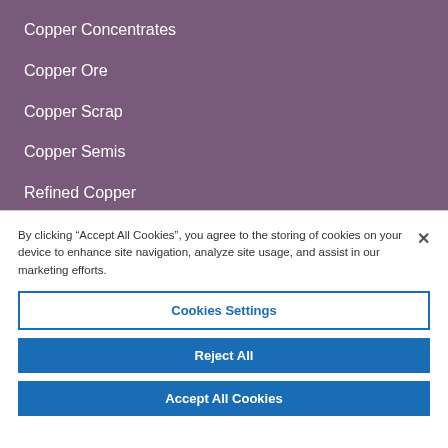Copper Concentrates
Copper Ore
Copper Scrap
Copper Semis
Refined Copper
By clicking “Accept All Cookies”, you agree to the storing of cookies on your device to enhance site navigation, analyze site usage, and assist in our marketing efforts.
Cookies Settings
Reject All
Accept All Cookies